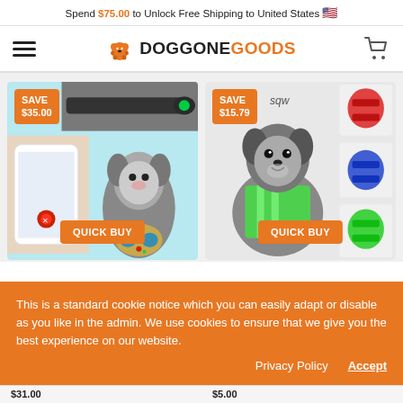Spend $75.00 to Unlock Free Shipping to United States 🇺🇸
[Figure (logo): DoggoneGoods logo with hamburger menu and cart icon in navigation bar]
[Figure (photo): Product card 1: Dog GPS tracker collar with phone app, dog, and smart device. SAVE $35.00 badge. QUICK BUY button.]
[Figure (photo): Product card 2: Dog safety harness vest in green on chihuahua, with red/blue/green color variants shown. SAVE $15.79 badge. QUICK BUY button.]
This is a standard cookie notice which you can easily adapt or disable as you like in the admin. We use cookies to ensure that we give you the best experience on our website.
Privacy Policy   Accept
$31.00
$5.00